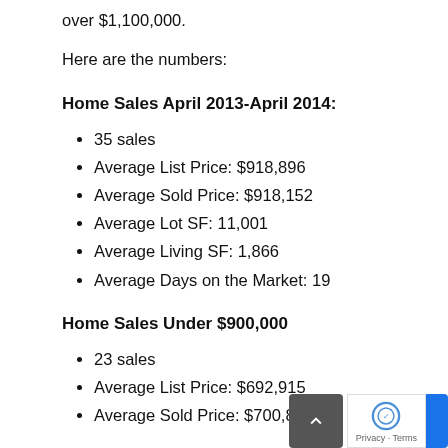over $1,100,000.
Here are the numbers:
Home Sales April 2013-April 2014:
35 sales
Average List Price: $918,896
Average Sold Price: $918,152
Average Lot SF: 11,001
Average Living SF: 1,866
Average Days on the Market: 19
Home Sales Under $900,000
23 sales
Average List Price: $692,915
Average Sold Price: $700,822